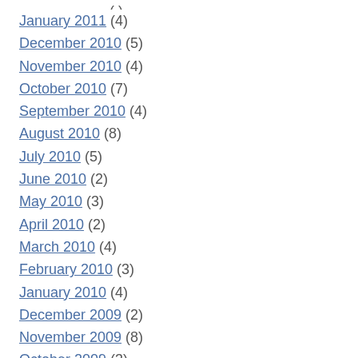January 2011 (4)
December 2010 (5)
November 2010 (4)
October 2010 (7)
September 2010 (4)
August 2010 (8)
July 2010 (5)
June 2010 (2)
May 2010 (3)
April 2010 (2)
March 2010 (4)
February 2010 (3)
January 2010 (4)
December 2009 (2)
November 2009 (8)
October 2009 (3)
September 2009 (2)
August 2009 (2)
July 2009 (7)